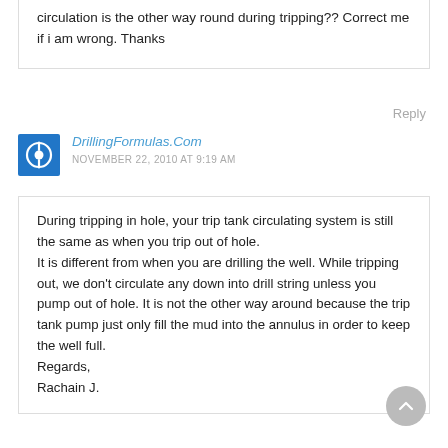circulation is the other way round during tripping?? Correct me if i am wrong. Thanks
Reply
DrillingFormulas.Com
NOVEMBER 22, 2010 AT 9:19 AM
During tripping in hole, your trip tank circulating system is still the same as when you trip out of hole.
It is different from when you are drilling the well. While tripping out, we don't circulate any down into drill string unless you pump out of hole. It is not the other way around because the trip tank pump just only fill the mud into the annulus in order to keep the well full.
Regards,
Rachain J.